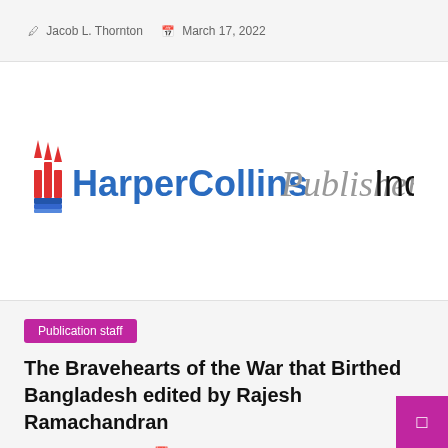Jacob L. Thornton   March 17, 2022
[Figure (logo): HarperCollins Publishers India logo with flame/book icon in red and blue, 'HarperCollins' in blue, 'Publishers' in italic gray, 'India' in black]
Publication staff
The Bravehearts of the War that Birthed Bangladesh edited by Rajesh Ramachandran
Jacob L. Thornton   March 16, 2022